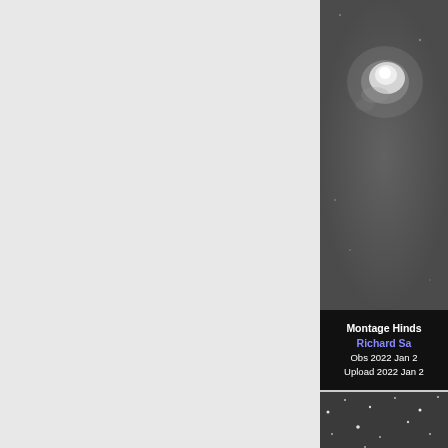[Figure (photo): Astronomical image showing a bright white nebula or comet against a dark gray background, upper right panel]
Montage Hinds
Richard Sa
Obs  2022 Jan 2
Upload  2022 Jan 2
[Figure (photo): Star field image showing scattered white dots (stars) against a dark gray background, lower right panel]
[Figure (photo): Partial star field image at very bottom, with a lighter rectangle overlay]